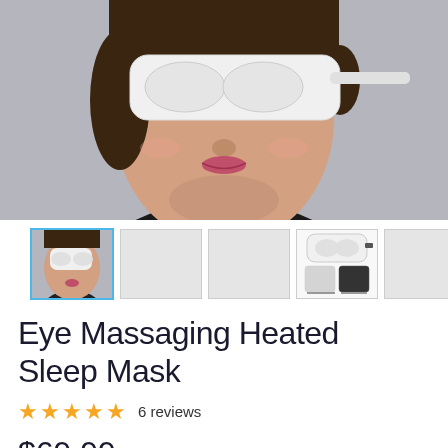[Figure (photo): Woman wearing a white eye massaging heated sleep mask on her face, shown from a side-angled view against a gray background, wearing a black shirt.]
[Figure (photo): Thumbnail images of the product: first thumbnail selected (woman wearing mask), second and third are placeholder gray, fourth shows the mask product from front and back views, fifth is gray placeholder.]
Eye Massaging Heated Sleep Mask
★★★★★  6 reviews
$69.99  $139.99